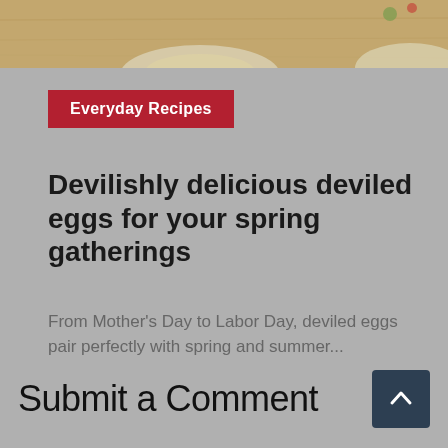[Figure (photo): Top portion of a food photograph showing deviled eggs on a wooden surface, cropped at top of page]
Everyday Recipes
Devilishly delicious deviled eggs for your spring gatherings
From Mother's Day to Labor Day, deviled eggs pair perfectly with spring and summer...
Submit a Comment